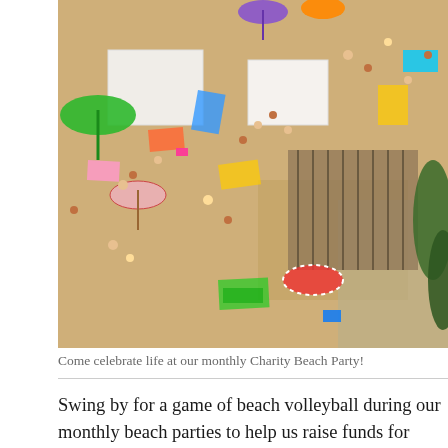[Figure (photo): Aerial drone view of a crowded beach with people, colorful umbrellas, towels, and sandy shoreline with trees visible at the edge.]
Come celebrate life at our monthly Charity Beach Party!
Swing by for a game of beach volleyball during our monthly beach parties to help us raise funds for charity! Supporting Water Aid and the Coral Reef Alliance helps us give a little something back to the world. We believe in being a socially responsible business. We want to use our position to try and make the world a little better where and when we can. So please join us in creating an inclusive and welcoming environment where we can practice mental and physical wellbeing together. Please